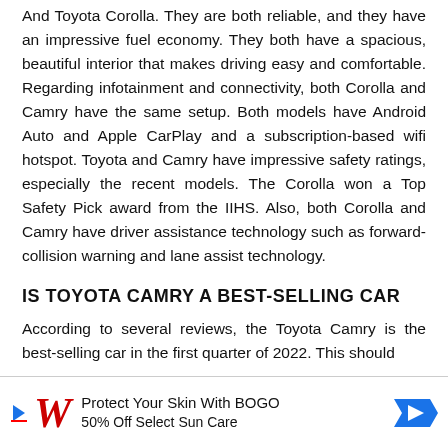And Toyota Corolla. They are both reliable, and they have an impressive fuel economy. They both have a spacious, beautiful interior that makes driving easy and comfortable. Regarding infotainment and connectivity, both Corolla and Camry have the same setup. Both models have Android Auto and Apple CarPlay and a subscription-based wifi hotspot. Toyota and Camry have impressive safety ratings, especially the recent models. The Corolla won a Top Safety Pick award from the IIHS. Also, both Corolla and Camry have driver assistance technology such as forward-collision warning and lane assist technology.
IS TOYOTA CAMRY A BEST-SELLING CAR
According to several reviews, the Toyota Camry is the best-selling car in the first quarter of 2022. This should
[Figure (other): Advertisement banner for Walgreens: 'Protect Your Skin With BOGO 50% Off Select Sun Care' with Walgreens logo and arrow icon]